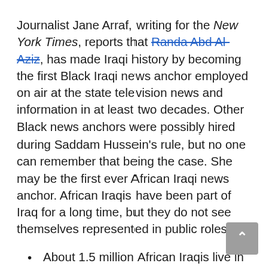Journalist Jane Arraf, writing for the New York Times, reports that Randa Abd Al-Aziz, has made Iraqi history by becoming the first Black Iraqi news anchor employed on air at the state television news and information in at least two decades. Other Black news anchors were possibly hired during Saddam Hussein's rule, but no one can remember that being the case. She may be the first ever African Iraqi news anchor. African Iraqis have been part of Iraq for a long time, but they do not see themselves represented in public roles:
About 1.5 million African Iraqis live in the country of forty million.
Black Iraqis have no political...